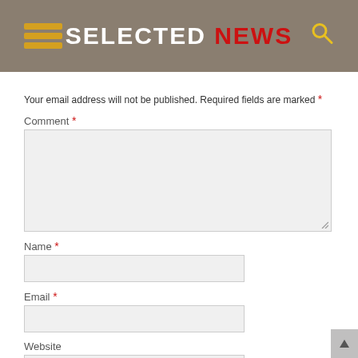SELECTED NEWS
Your email address will not be published. Required fields are marked *
Comment *
[Figure (other): Comment textarea input box]
Name *
[Figure (other): Name input field]
Email *
[Figure (other): Email input field]
Website
[Figure (other): Website input field]
Save my name, email, and website in this browser for the next time I comment.